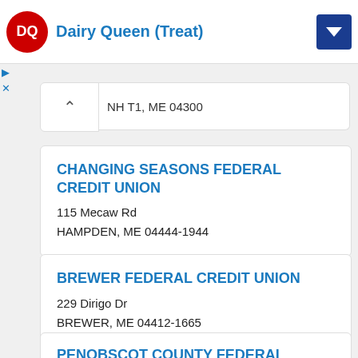[Figure (logo): Dairy Queen (Treat) advertisement banner with DQ logo on the left and a blue arrow icon on the right]
NH T1, ME 04300
CHANGING SEASONS FEDERAL CREDIT UNION
115 Mecaw Rd
HAMPDEN, ME 04444-1944
BREWER FEDERAL CREDIT UNION
229 Dirigo Dr
BREWER, ME 04412-1665
PENOBSCOT COUNTY FEDERAL CREDIT